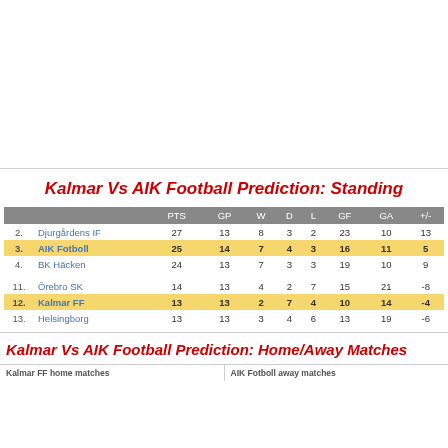Kalmar Vs AIK Football Prediction: Standing
|  |  | PTS | GP | W | D | L | GF | GA | +/- |
| --- | --- | --- | --- | --- | --- | --- | --- | --- | --- |
| 2. | Djurgårdens IF | 27 | 13 | 8 | 3 | 2 | 23 | 10 | 13 |
| 3. | AIK Fotboll | 25 | 14 | 7 | 4 | 3 | 16 | 11 | 5 |
| 4. | BK Häcken | 24 | 13 | 7 | 3 | 3 | 19 | 10 | 9 |
| 11. | Örebro SK | 14 | 13 | 4 | 2 | 7 | 15 | 21 | -8 |
| 12. | Kalmar FF | 13 | 13 | 2 | 7 | 4 | 10 | 14 | -4 |
| 13. | Helsingborg | 13 | 13 | 3 | 4 | 6 | 13 | 19 | -6 |
Kalmar Vs AIK Football Prediction: Home/Away Matches
Kalmar FF home matches
AIK Fotboll away matches